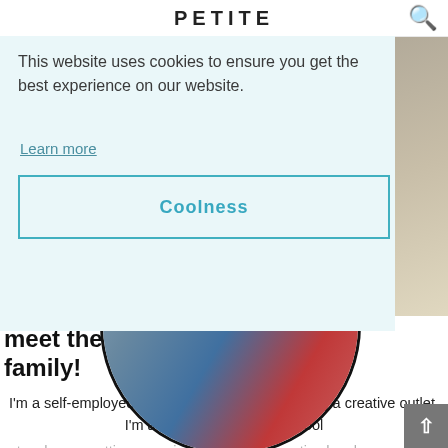PETITE
This website uses cookies to ensure you get the best experience on our website.
Learn more
Coolness
[Figure (photo): Circular framed family photo showing people from above, with text 'meet the family!' in handwritten script beside it]
meet mariah
I'm a self-employed mom of two who loves having a creative outlet. I'm a former elementary school teacher so getting organized and being creative has been part of my life forever! I'm excited to